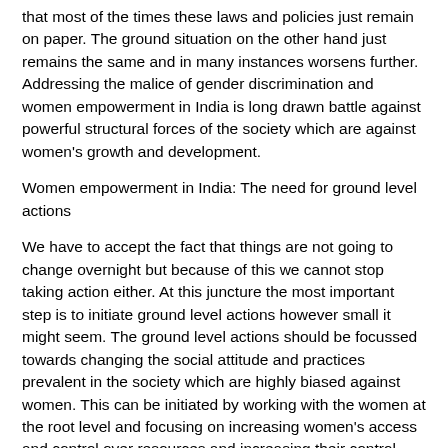that most of the times these laws and policies just remain on paper. The ground situation on the other hand just remains the same and in many instances worsens further. Addressing the malice of gender discrimination and women empowerment in India is long drawn battle against powerful structural forces of the society which are against women's growth and development.
Women empowerment in India: The need for ground level actions
We have to accept the fact that things are not going to change overnight but because of this we cannot stop taking action either. At this juncture the most important step is to initiate ground level actions however small it might seem. The ground level actions should be focussed towards changing the social attitude and practices prevalent in the society which are highly biased against women. This can be initiated by working with the women at the root level and focusing on increasing women's access and control over resources and increasing their control over decision making. Further working on the aspect of enhanced mobility and social interaction of women in the society would positively